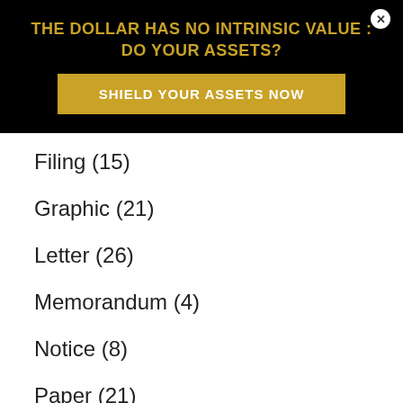[Figure (infographic): Advertisement banner with black background. Title text in gold: 'THE DOLLAR HAS NO INTRINSIC VALUE : DO YOUR ASSETS?' with a gold button below reading 'SHIELD YOUR ASSETS NOW' and a close button (x) in top right corner.]
Filing (15)
Graphic (21)
Letter (26)
Memorandum (4)
Notice (8)
Paper (21)
Petition (1)
Release (79)
Report (1)